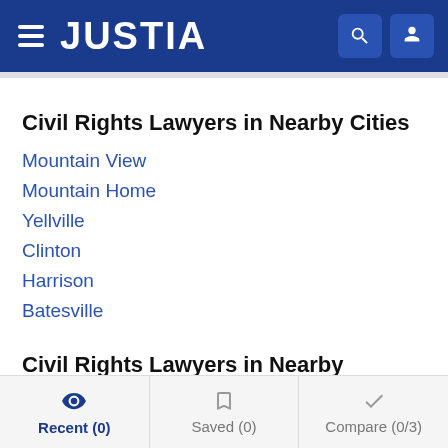JUSTIA
Civil Rights Lawyers in Nearby Cities
Mountain View
Mountain Home
Yellville
Clinton
Harrison
Batesville
Civil Rights Lawyers in Nearby Counties
Baxter County
Stone County
Searcy County
Recent (0)  Saved (0)  Compare (0/3)